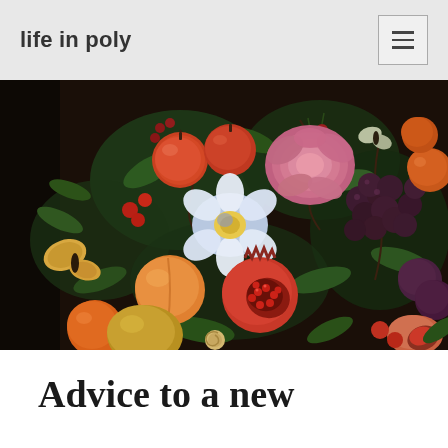life in poly
[Figure (illustration): A classical Dutch still life painting showing an abundant arrangement of colorful fruits including pomegranates, oranges, peaches, grapes, and flowers including a large pink rose and white flower, with butterflies, against a dark background.]
Advice to a new